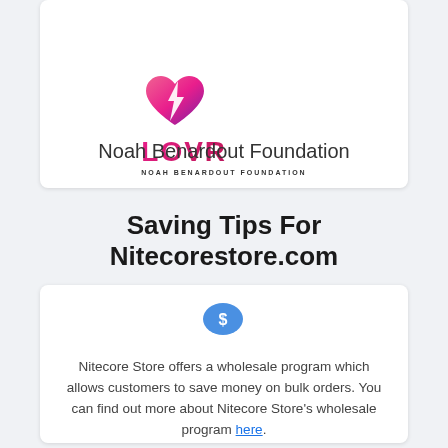[Figure (logo): LOVR Noah Benardout Foundation logo — a pink/magenta heart with a white lightning bolt, 'LOVR' in gradient text, 'NOAH BENARDOUT FOUNDATION' in small caps beneath]
Noah Benardout Foundation
Saving Tips For Nitecorestore.com
[Figure (illustration): Blue speech bubble with a dollar sign icon]
Nitecore Store offers a wholesale program which allows customers to save money on bulk orders. You can find out more about Nitecore Store's wholesale program here.